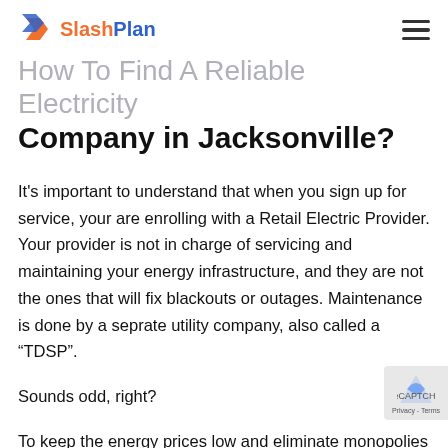SlashPlan (logo with hamburger menu)
How To Find A Reliable Electricity Company in Jacksonville?
It's important to understand that when you sign up for service, your are enrolling with a Retail Electric Provider. Your provider is not in charge of servicing and maintaining your energy infrastructure, and they are not the ones that will fix blackouts or outages. Maintenance is done by a seprate utility company, also called a “TDSP”.
Sounds odd, right?
To keep the energy prices low and eliminate monopolies deregulated markets don’t allow utility companies (aka TDU /TDSP) to sell electricity directly to the end user.